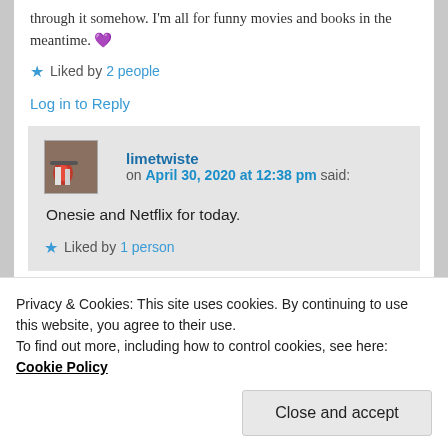through it somehow. I'm all for funny movies and books in the meantime. 💜
★ Liked by 2 people
Log in to Reply
limetwiste on April 30, 2020 at 12:38 pm said:
Onesie and Netflix for today.
★ Liked by 1 person
Privacy & Cookies: This site uses cookies. By continuing to use this website, you agree to their use.
To find out more, including how to control cookies, see here: Cookie Policy
Close and accept